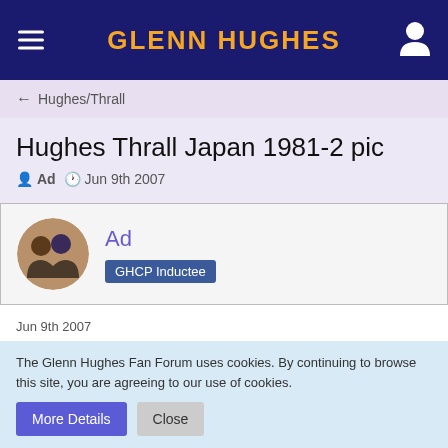GLENN HUGHES
← Hughes/Thrall
Hughes Thrall Japan 1981-2 pic
Ad  Jun 9th 2007
Ad
GHCP Inductee
Jun 9th 2007
...and here's a pic of Glenn 'n' Pat in Japan talking to magazine Music Life
The Glenn Hughes Fan Forum uses cookies. By continuing to browse this site, you are agreeing to our use of cookies.
More Details  Close